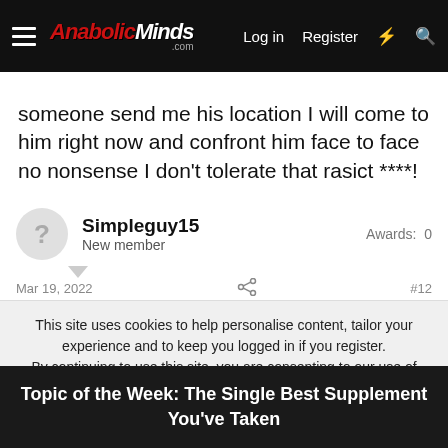AnabolicMinds.com — Log in  Register
someone send me his location I will come to him right now and confront him face to face no nonsense I don't tolerate that rasict ****!
Simpleguy15
New member
Awards: 0
Mar 19, 2022  #12
This site uses cookies to help personalise content, tailor your experience and to keep you logged in if you register.
By continuing to use this site, you are consenting to our use of cookies.
Topic of the Week: The Single Best Supplement You've Taken